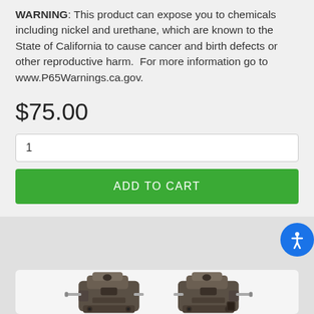WARNING: This product can expose you to chemicals including nickel and urethane, which are known to the State of California to cause cancer and birth defects or other reproductive harm. For more information go to www.P65Warnings.ca.gov.
$75.00
1
ADD TO CART
[Figure (photo): Two dark grey/brown brake calipers side by side with mounting hardware visible]